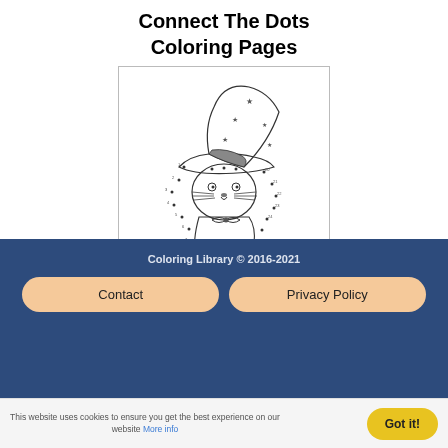Connect The Dots Coloring Pages
[Figure (illustration): A connect-the-dots coloring page featuring a cat wearing a star-decorated wizard hat, holding a bag, surrounded by numbered dots to connect.]
Coloring Library © 2016-2021
Contact
Privacy Policy
This website uses cookies to ensure you get the best experience on our website More info